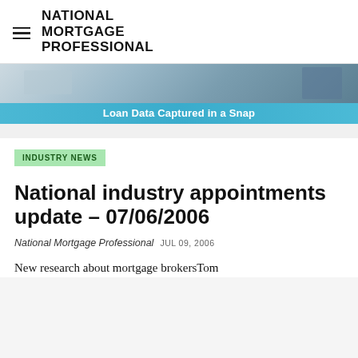NATIONAL MORTGAGE PROFESSIONAL
[Figure (photo): Banner advertisement showing a desk with laptop and tablet, with text 'Loan Data Captured in a Snap']
INDUSTRY NEWS
National industry appointments update – 07/06/2006
National Mortgage Professional  JUL 09, 2006
New research about mortgage brokersTom